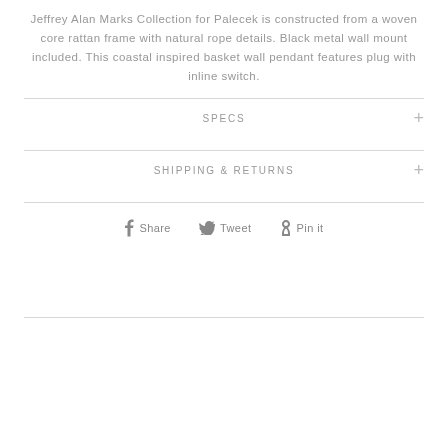Jeffrey Alan Marks Collection for Palecek is constructed from a woven core rattan frame with natural rope details. Black metal wall mount included. This coastal inspired basket wall pendant features plug with inline switch.
SPECS
SHIPPING & RETURNS
Share  Tweet  Pin it